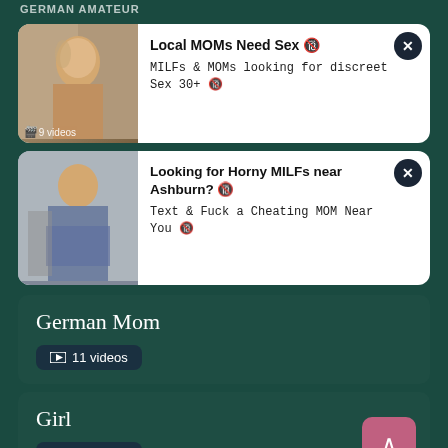[Figure (screenshot): Ad card 1: Local MOMs Need Sex - MILFs & MOMs looking for discreet Sex 30+]
9 videos
[Figure (screenshot): Ad card 2: Looking for Horny MILFs near Ashburn? - Text & Fuck a Cheating MOM Near You]
German Mom
11 videos
Girl
20 videos